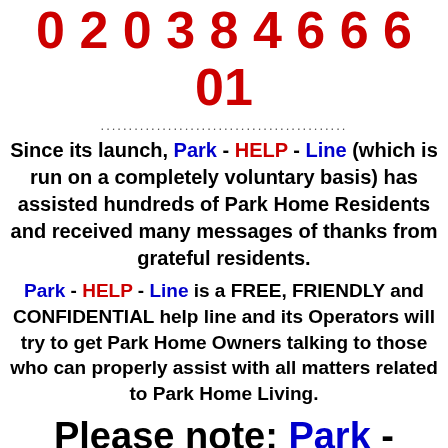0 2 0 3 8 4 6 6 6 01
Since its launch, Park - HELP - Line (which is run on a completely voluntary basis) has assisted hundreds of Park Home Residents and received many messages of thanks from grateful residents.
Park - HELP - Line is a FREE, FRIENDLY and CONFIDENTIAL help line and its Operators will try to get Park Home Owners talking to those who can properly assist with all matters related to Park Home Living.
Please note; Park - HELP - Line Operators